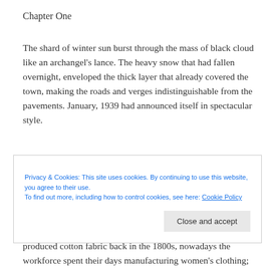Chapter One
The shard of winter sun burst through the mass of black cloud like an archangel’s lance. The heavy snow that had fallen overnight, enveloped the thick layer that already covered the town, making the roads and verges indistinguishable from the pavements. January, 1939 had announced itself in spectacular style.
Privacy & Cookies: This site uses cookies. By continuing to use this website, you agree to their use.
To find out more, including how to control cookies, see here: Cookie Policy
Close and accept
soggy, woollen socks, was something she could well do without. Locals called the factory, The Mill, because it produced cotton fabric back in the 1800s, nowadays the workforce spent their days manufacturing women’s clothing; anything from underwear to winter coats.